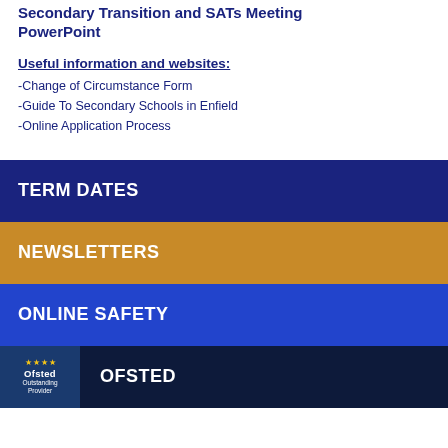Secondary Transition and SATs Meeting PowerPoint
Useful information and websites:
-Change of Circumstance Form
-Guide To Secondary Schools in Enfield
-Online Application Process
TERM DATES
NEWSLETTERS
ONLINE SAFETY
OFSTED